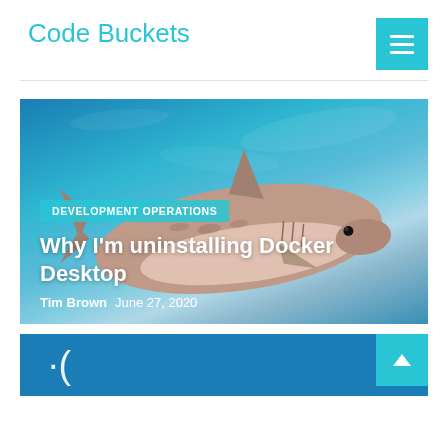Code Buckets
[Figure (photo): Underwater photograph of a large tiger shark swimming against a blue ocean background]
DEVELOPMENT OPERATIONS
Why I'm uninstalling Docker Desktop
Tim Brown   June 27, 2020
[Figure (other): Partial view of a blue card with a sad face emoticon :( partially visible at bottom of page]